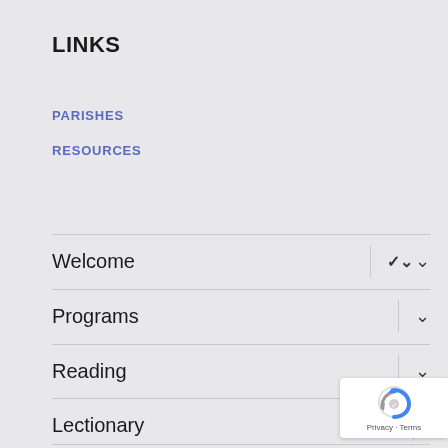LINKS
PARISHES
RESOURCES
Welcome
Programs
Reading
Lectionary
[Figure (screenshot): reCAPTCHA badge with Privacy and Terms text]